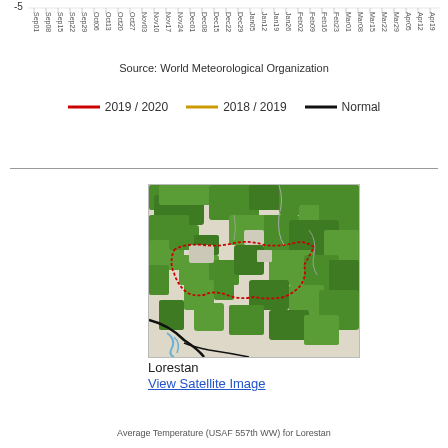[Figure (continuous-plot): Bottom portion of a temperature line chart showing x-axis date labels (Sep01 through Apr19) at -5 baseline, with three lines: red (2019/2020), yellow/orange (2018/2019), and black (Normal).]
Source: World Meteorological Organization
[Figure (other): Legend showing three line types: red line for 2019/2020, yellow/orange line for 2018/2019, black line for Normal]
[Figure (map): Satellite/vegetation map of Lorestan region in Iran, showing green vegetation areas with a red dotted boundary outlining Lorestan province, and black road/river lines in the lower left.]
Lorestan
View Satellite Image
Average Temperature (USAF 557th WW) for Lorestan